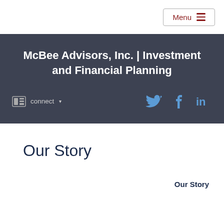Menu
McBee Advisors, Inc. | Investment and Financial Planning
connect ▾
[Figure (infographic): Social media icons: Twitter bird icon, Facebook f icon, LinkedIn in icon in blue]
Our Story
Our Story